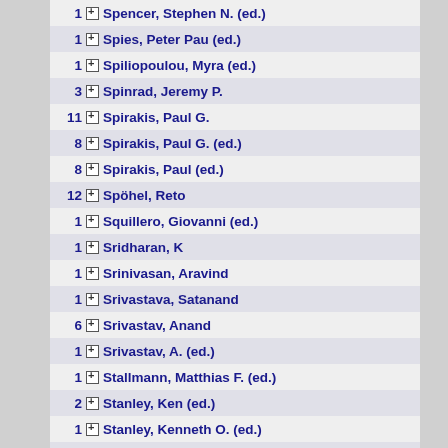1 Spencer, Stephen N. (ed.)
1 Spies, Peter Pau (ed.)
1 Spiliopoulou, Myra (ed.)
3 Spinrad, Jeremy P.
11 Spirakis, Paul G.
8 Spirakis, Paul G. (ed.)
8 Spirakis, Paul (ed.)
12 Spöhel, Reto
1 Squillero, Giovanni (ed.)
1 Sridharan, K
1 Srinivasan, Aravind
1 Srivastava, Satanand
6 Srivastav, Anand
1 Srivastav, A. (ed.)
1 Stallmann, Matthias F. (ed.)
2 Stanley, Ken (ed.)
1 Stanley, Kenneth O. (ed.)
2 Staples, John (ed.)
1 Starikovskaya, Tatiana
1 Starikovskaya, Tatiana A.
5 Stauffer, Alexandre
1 Steffen, Martin (ed.)